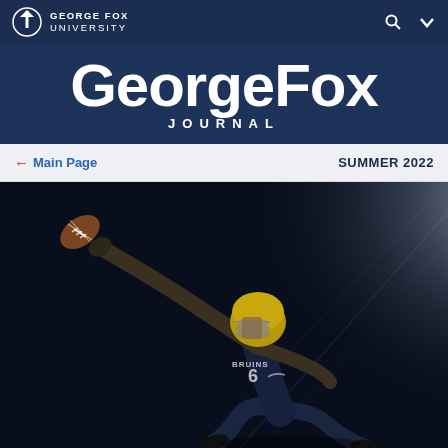George Fox University
GeorgeFox JOURNAL
← Main Page  SUMMER 2022
[Figure (photo): A George Fox University Bruins football player (#6) wearing a navy jersey and gold helmet, leaping and stretching out his arm holding a football, photographed dramatically against a dark background with a light beam emanating from the right side.]